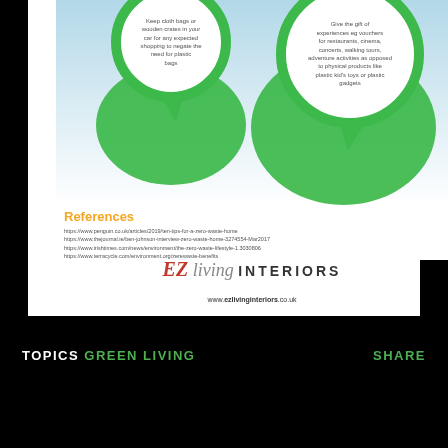[Figure (infographic): Two circular speech bubble graphics on a light blue/white gradient background. Left bubble (green border): 'Keep cloth bags or wooden crates in your car for any expected shopping to negate the need for plastic bags'. Right bubble (green border): 'Give the gift of experiences eg vouchers for restaurants, cinema, concerts, walking tours, adventure activities as opposed to physical products like plastic kid's toys or plastic gadgets'. Both bubbles have green filled circles behind them with pointer tails.]
References
https://www.penguin.co.uk/articles/2019/ten-tips-for-a-zero-waste-home
https://www.thejournal.ie/ben-johnson-interview-zero-waste-home-3274554-Mar2017
https://www.irishtimes.com/news/environment/the-zero-waste-lifestyle-1.3030806
https://www.terracycle.com/environment.org/zerewaste-benefits
[Figure (logo): EZ living INTERIORS logo - EZ in red italic serif, 'living' in grey italic serif, 'INTERIORS' in bold sans-serif caps with letter spacing]
www.ezlivinginteriors.co.uk
TOPICS GREEN LIVING
SHARE